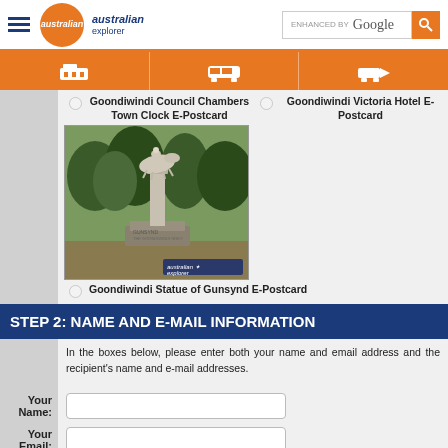australian explorer — ENHANCED BY Google [search]
[Figure (infographic): Orange navigation bar with three white icons: bed/accommodation, bus/transport, car/transport]
Goondiwindi Council Chambers Town Clock E-Postcard
Goondiwindi Victoria Hotel E-Postcard
[Figure (photo): Photo of Goondiwindi Statue of Gunsynd monument with horse and jockey sculpture on a pedestal, surrounded by trees, with Australian Explorer watermark]
Goondiwindi Statue of Gunsynd E-Postcard
STEP 2: NAME AND E-MAIL INFORMATION
In the boxes below, please enter both your name and email address and the recipient's name and e-mail addresses.
Your Name:
Your Email: